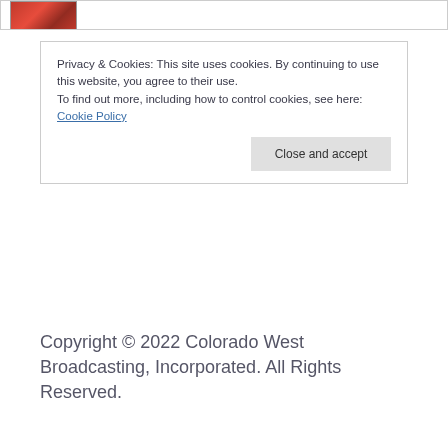[Figure (photo): Partial image strip showing red object at top of page]
Privacy & Cookies: This site uses cookies. By continuing to use this website, you agree to their use.
To find out more, including how to control cookies, see here:
Cookie Policy
Close and accept
Copyright © 2022 Colorado West Broadcasting, Incorporated. All Rights Reserved.